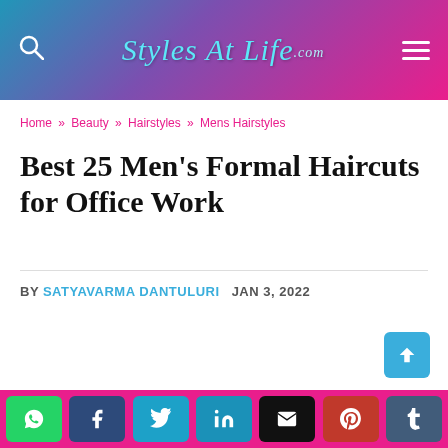Styles At Life .com
Home » Beauty » Hairstyles » Mens Hairstyles
Best 25 Men's Formal Haircuts for Office Work
BY SATYAVARMA DANTULURI   JAN 3, 2022